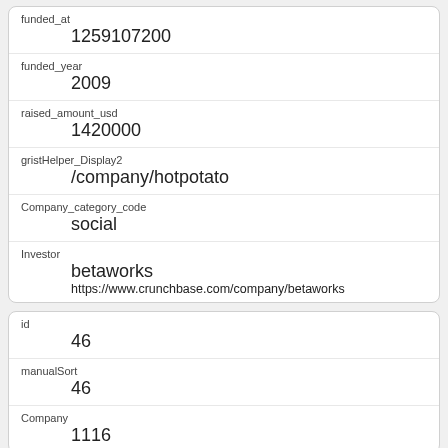| funded_at | 1259107200 |
| funded_year | 2009 |
| raised_amount_usd | 1420000 |
| gristHelper_Display2 | /company/hotpotato |
| Company_category_code | social |
| Investor | betaworks
https://www.crunchbase.com/company/betaworks |
| id | 46 |
| manualSort | 46 |
| Company | 1116 |